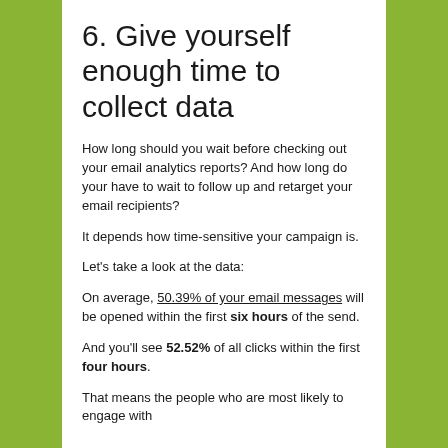6. Give yourself enough time to collect data
How long should you wait before checking out your email analytics reports? And how long do your have to wait to follow up and retarget your email recipients?
It depends how time-sensitive your campaign is.
Let's take a look at the data:
On average, 50.39% of your email messages will be opened within the first six hours of the send.
And you'll see 52.52% of all clicks within the first four hours.
That means the people who are most likely to engage with